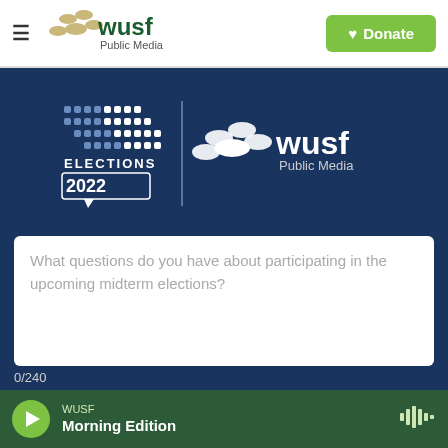[Figure (logo): WUSF Public Media logo with hamburger menu and Donate button in navigation bar]
[Figure (logo): Elections 2022 badge with bar chart graphic alongside WUSF Public Media logo on dark blue background]
What questions do you have about participating in the upcoming midterm elections?
0/240
Your contact info
We'll be in touch with an answer to your question soon.
WUSF Morning Edition